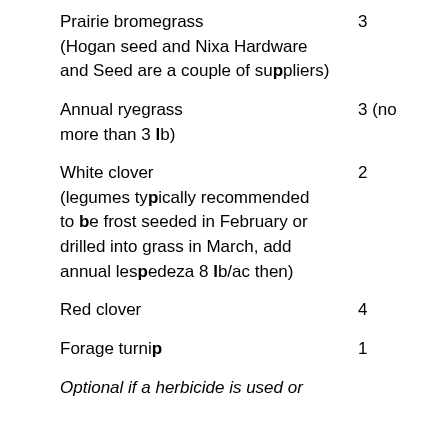Prairie bromegrass 3 (Hogan seed and Nixa Hardware and Seed are a couple of suppliers)
Annual ryegrass 3 (no more than 3 lb)
White clover 2 (legumes typically recommended to be frost seeded in February or drilled into grass in March, add annual lespedeza 8 lb/ac then)
Red clover 4
Forage turnip 1
Optional if a herbicide is used or